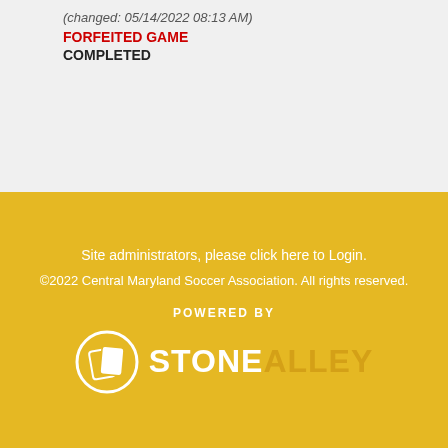(changed: 05/14/2022 08:13 AM)
FORFEITED GAME
COMPLETED
Site administrators, please click here to Login.
©2022 Central Maryland Soccer Association. All rights reserved.
POWERED BY
[Figure (logo): Stone Alley logo with circular icon containing two overlapping book/card shapes and text STONE ALLEY]